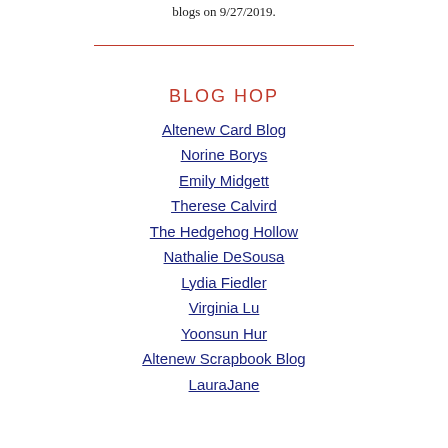blogs on 9/27/2019.
BLOG HOP
Altenew Card Blog
Norine Borys
Emily Midgett
Therese Calvird
The Hedgehog Hollow
Nathalie DeSousa
Lydia Fiedler
Virginia Lu
Yoonsun Hur
Altenew Scrapbook Blog
LauraJane